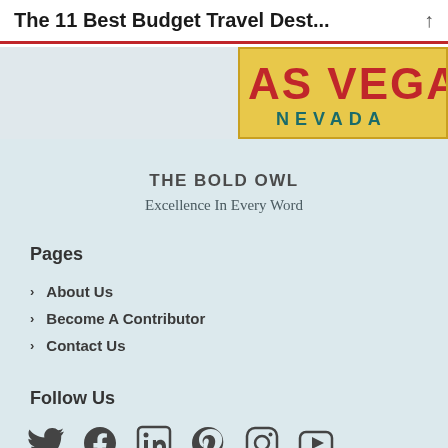The 11 Best Budget Travel Dest...
[Figure (photo): Las Vegas Nevada welcome sign, partial view showing 'AS VEGA' in red letters and 'NEVADA' in teal letters on a yellow background]
THE BOLD OWL
Excellence In Every Word
Pages
About Us
Become A Contributor
Contact Us
Follow Us
[Figure (illustration): Social media icons: Twitter, Facebook, LinkedIn, Pinterest, Instagram, YouTube]